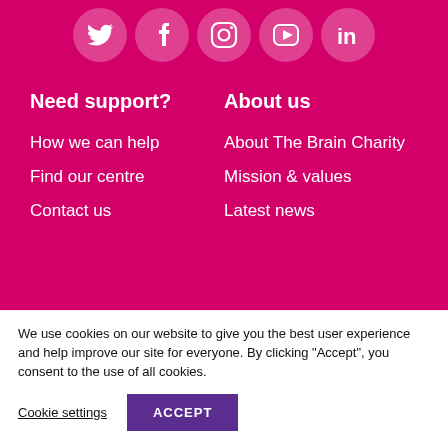[Figure (illustration): Social media icons: Twitter, Facebook, Instagram, YouTube, LinkedIn — white icons in semi-transparent pink circles on a dark pink background]
Need support?
About us
How we can help
About The Brain Charity
Find our centre
Mission & values
Contact us
Latest news
We use cookies on our website to give you the best user experience and help improve our site for everyone. By clicking “Accept”, you consent to the use of all cookies.
Cookie settings
ACCEPT